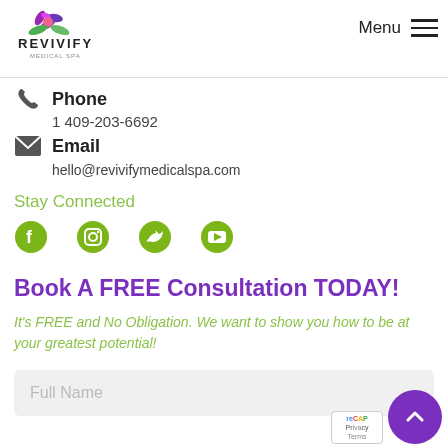[Figure (logo): Revivify Medical Spa logo with flower graphic and text]
Menu
Phone
1 409-203-6692
Email
hello@revivifymedicalspa.com
Stay Connected
[Figure (infographic): Social media icons: Facebook, Instagram, Twitter, YouTube in olive/green color]
Book A FREE Consultation TODAY!
It's FREE and No Obligation. We want to show you how to be at your greatest potential!
Full Name